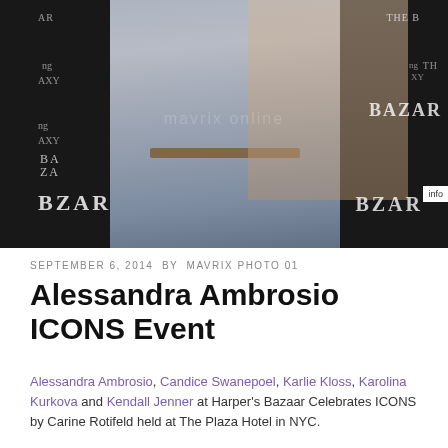[Figure (photo): Two women posing at Harper's Bazaar ICONS event in front of a step-and-repeat backdrop with Harper's Bazaar and Samsung Galaxy logos. The foreground woman wears a silver-blue satin slip dress with a thin brown belt and statement jewelry.]
SEPTEMBER 6, 2014  BY  MAVRIX PHOTO 01
Alessandra Ambrosio ICONS Event
Alessandra Ambrosio, Candice Swanepoel, Karlie Kloss, Karolina Kurkova and Kendall Jenner at Harper's Bazaar Celebrates ICONS by Carine Rotifeld held at The Plaza Hotel in NYC.